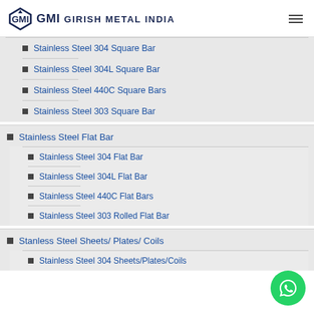GMI GIRISH METAL INDIA
Stainless Steel 304 Square Bar
Stainless Steel 304L Square Bar
Stainless Steel 440C Square Bars
Stainless Steel 303 Square Bar
Stainless Steel Flat Bar
Stainless Steel 304 Flat Bar
Stainless Steel 304L Flat Bar
Stainless Steel 440C Flat Bars
Stainless Steel 303 Rolled Flat Bar
Stanless Steel Sheets/ Plates/ Coils
Stainless Steel 304 Sheets/Plates/Coils